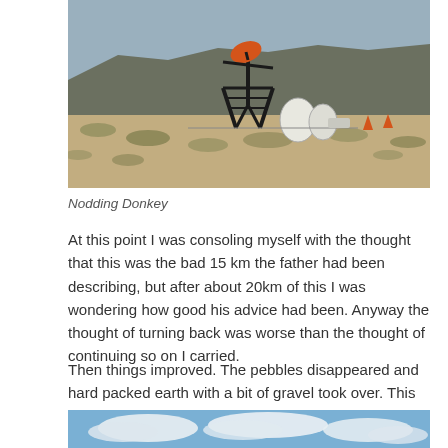[Figure (photo): An oil pump jack (nodding donkey) in a dry, arid desert landscape with scrubby brush and rocky hills in the background. The pump jack is black with an orange top, with white storage tanks and equipment visible behind it. Sky is overcast gray-blue.]
Nodding Donkey
At this point I was consoling myself with the thought that this was the bad 15 km the father had been describing, but after about 20km of this I was wondering how good his advice had been. Anyway the thought of turning back was worse than the thought of continuing so on I carried.
Then things improved. The pebbles disappeared and hard packed earth with a bit of gravel took over. This was fine:
[Figure (photo): Bottom portion of a landscape photo showing a bright blue sky with white clouds.]